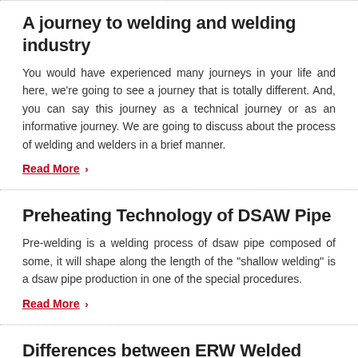A journey to welding and welding industry
You would have experienced many journeys in your life and here, we're going to see a journey that is totally different. And, you can say this journey as a technical journey or as an informative journey. We are going to discuss about the process of welding and welders in a brief manner.
Read More ›
Preheating Technology of DSAW Pipe
Pre-welding is a welding process of dsaw pipe composed of some, it will shape along the length of the "shallow welding" is a dsaw pipe production in one of the special procedures.
Read More ›
Differences between ERW Welded Pipe